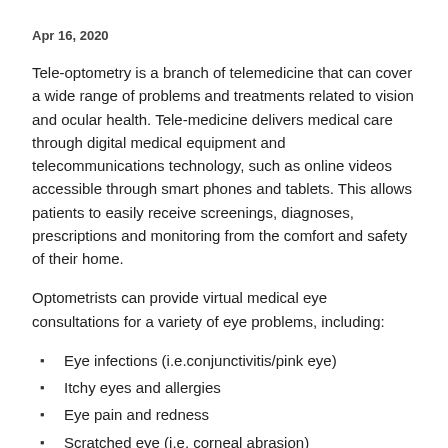Apr 16, 2020
Tele-optometry is a branch of telemedicine that can cover a wide range of problems and treatments related to vision and ocular health. Tele-medicine delivers medical care through digital medical equipment and telecommunications technology, such as online videos accessible through smart phones and tablets. This allows patients to easily receive screenings, diagnoses, prescriptions and monitoring from the comfort and safety of their home.
Optometrists can provide virtual medical eye consultations for a variety of eye problems, including:
Eye infections (i.e.conjunctivitis/pink eye)
Itchy eyes and allergies
Eye pain and redness
Scratched eye (i.e. corneal abrasion)
Flashers & floaters
Blurred or double vision
Distorted vision